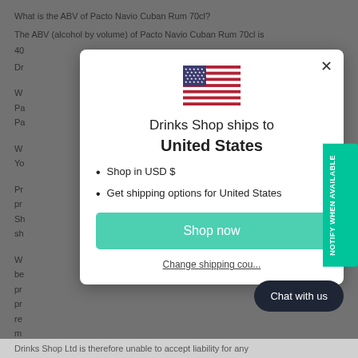What is the ABV of Pacto Navio Cuban Rum 70cl? The ABV (alcohol by volume) of Pacto Navio Cuban Rum 70cl is 40%... Drinks...
[Figure (screenshot): Modal dialog showing US flag, 'Drinks Shop ships to United States', bullet list with 'Shop in USD $' and 'Get shipping options for United States', a teal 'Shop now' button, and a 'Change shipping country' link]
Shop in USD $
Get shipping options for United States
Shop now
Change shipping country
NOTIFY WHEN AVAILABLE
Chat with us
Drinks Shop Ltd is therefore unable to accept liability for any